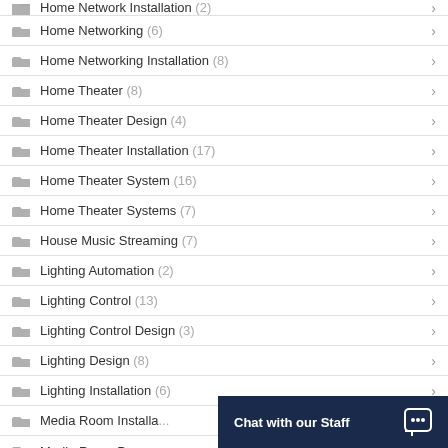Home Network Installation (2)
Home Networking (6)
Home Networking Installation (8)
Home Theater (8)
Home Theater Design (4)
Home Theater Installation (17)
Home Theater System (16)
Home Theater Systems (7)
House Music Streaming (7)
Lighting Automation (2)
Lighting Control (13)
Lighting Control Design (3)
Lighting Design (8)
Lighting Installation (6)
Media Room Installation (1)
Media Room Program...
Chat with our Staff